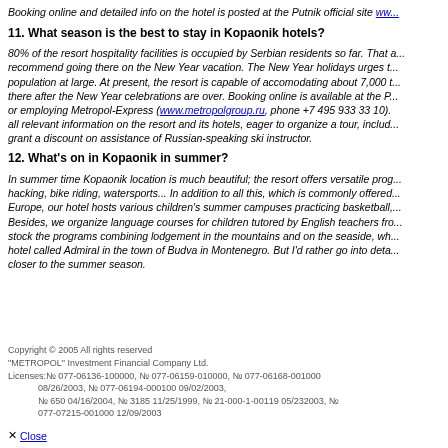Booking online and detailed info on the hotel is posted at the Putnik official site www...
11. What season is the best to stay in Kopaonik hotels?
80% of the resort hospitality facilities is occupied by Serbian residents so far. That ... recommend going there on the New Year vacation. The New Year holidays urges t... population at large. At present, the resort is capable of accomodating about 7,000 t... there after the New Year celebrations are over. Booking online is available at the P... or employing Metropol-Express (www.metropolgroup.ru, phone +7 495 933 33 10).... all relevant information on the resort and its hotels, eager to organize a tour, includ... grant a discount on assistance of Russian-speaking ski instructor.
12. What's on in Kopaonik in summer?
In summer time Kopaonik location is much beautiful; the resort offers versatile prog... hacking, bike riding, watersports... In addition to all this, which is commonly offered... Europe, our hotel hosts various children's summer campuses practicing basketball,... Besides, we organize language courses for children tutored by English teachers fro... stock the programs combining lodgement in the mountains and on the seaside, wh... hotel called Admiral in the town of Budva in Montenegro. But I'd rather go into deta... closer to the summer season.
Copyright © 2005 All rights reserved "METROPOL" Investment Financial Company Ltd. Licenses:№ 077-06136-100000, № 077-06159-010000, № 077-06168-001000 08/26/2003, № 077-06194-000100 09/02/2003, № 650 04/16/2004, № 3185 11/25/1999, № 21-000-1-00119 05/232003, № 077-07215-001000 12/09/2003
✕ Close